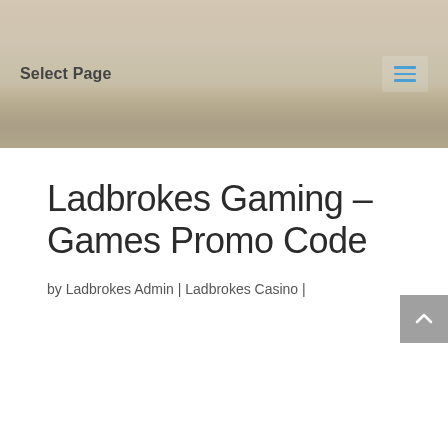[Figure (photo): Hero banner background image showing a faded outdoor landscape/field scene in muted beige and tan tones]
Select Page
Ladbrokes Gaming – Games Promo Code
by Ladbrokes Admin | Ladbrokes Casino |